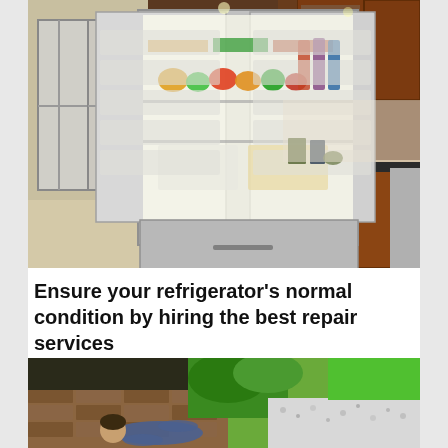[Figure (photo): Open French door refrigerator stocked with food and drinks, displayed in a kitchen with dark wood cabinets, tile floor, and a view of French doors to the outside.]
Ensure your refrigerator's normal condition by hiring the best repair services
[Figure (photo): Person lying on a brick pathway near green shrubs and a lawn, viewed from above.]